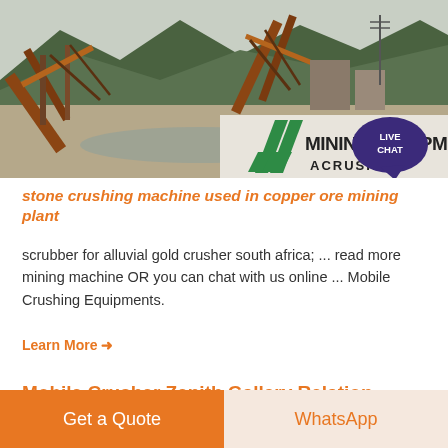[Figure (photo): Industrial mining/crushing plant with conveyor belts and machinery against a mountain backdrop. Bottom right shows a white panel with green diagonal stripes logo and bold text 'MINING EQUIPMENT ACRUSHER'. Top right has a dark blue speech bubble with 'LIVE CHAT' text in white.]
stone crushing machine used in copper ore mining plant
scrubber for alluvial gold crusher south africa; ... read more mining machine OR you can chat with us online ... Mobile Crushing Equipments.
Learn More →
Mobile Crusher Zenith Gallery Relation